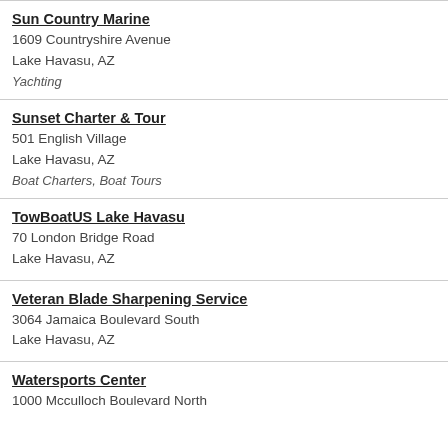Sun Country Marine
1609 Countryshire Avenue
Lake Havasu, AZ
Yachting
Sunset Charter & Tour
501 English Village
Lake Havasu, AZ
Boat Charters, Boat Tours
TowBoatUS Lake Havasu
70 London Bridge Road
Lake Havasu, AZ
Veteran Blade Sharpening Service
3064 Jamaica Boulevard South
Lake Havasu, AZ
Watersports Center
1000 Mcculloch Boulevard North
Lake Havasu, AZ